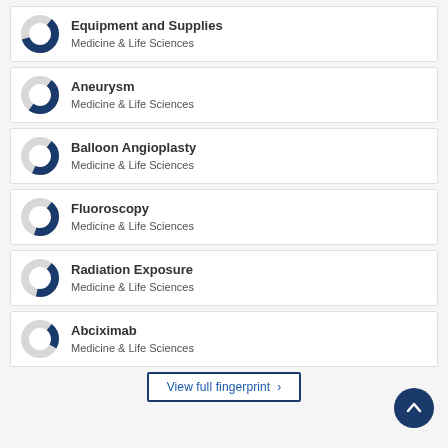Equipment and Supplies — Medicine & Life Sciences
Aneurysm — Medicine & Life Sciences
Balloon Angioplasty — Medicine & Life Sciences
Fluoroscopy — Medicine & Life Sciences
Radiation Exposure — Medicine & Life Sciences
Abciximab — Medicine & Life Sciences
View full fingerprint ›